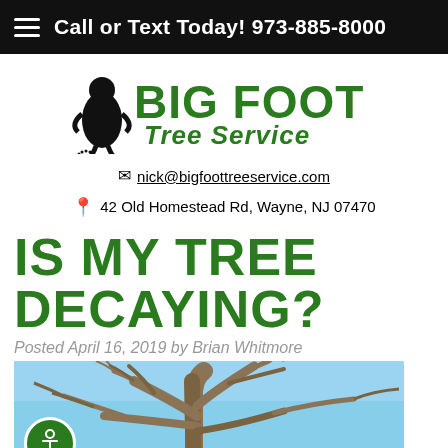Call or Text Today! 973-885-8000
[Figure (logo): Big Foot Tree Service logo with bigfoot footprint silhouette and company name in green and black]
nick@bigfoottreeservice.com
42 Old Homestead Rd, Wayne, NJ 07470
IS MY TREE DECAYING?
Posted April 16, 2019 by Brian Whitmore
[Figure (photo): Bare tree branches against a blue sky, showing tree structure without leaves, possibly depicting a decaying or dormant tree]